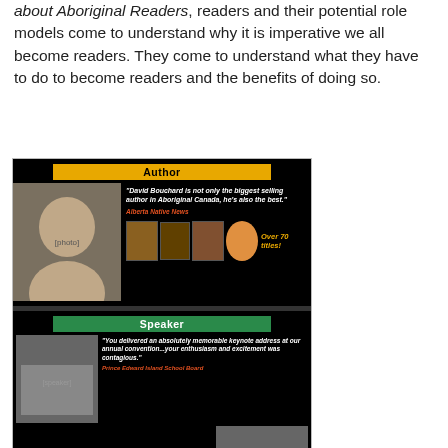about Aboriginal Readers, readers and their potential role models come to understand why it is imperative we all become readers. They come to understand what they have to do to become readers and the benefits of doing so.
[Figure (photo): Author panel showing David Bouchard - Author section with photo, quote 'David Bouchard is not only the biggest selling author in Aboriginal Canada, he's also the best.' attributed to Alberta Native News, and book covers with text 'Over 70 titles!'; Speaker section with photos of speaking events, quote 'You delivered an absolutely memorable keynote address at our annual convention...your enthusiasm and excitement was contagious.' attributed to Prince Edward Island School Board, and quote 'It was inspiring! I left the auditorium with a renewed zest for my profession. Thank you for that!' attributed to Condor School, Alberta; Award Winner section header visible at bottom.]